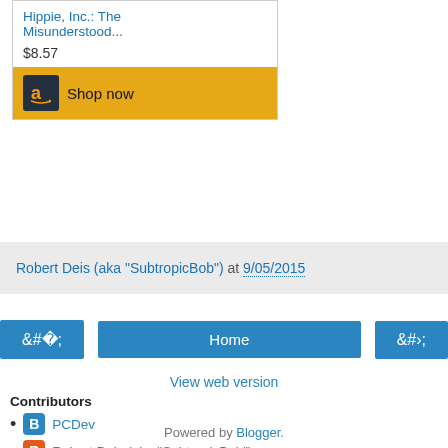[Figure (other): Amazon product card showing book 'Hippie, Inc.: The Misunderstood...' priced at $8.57 with a 'Shop now' button featuring the Amazon logo on a golden background]
Robert Deis (aka "SubtropicBob") at 9/05/2015
[Figure (other): Navigation buttons: left arrow, Home, right arrow]
View web version
Contributors
PCDev
Robert Deis (aka "SubtropicBob")
Powered by Blogger.